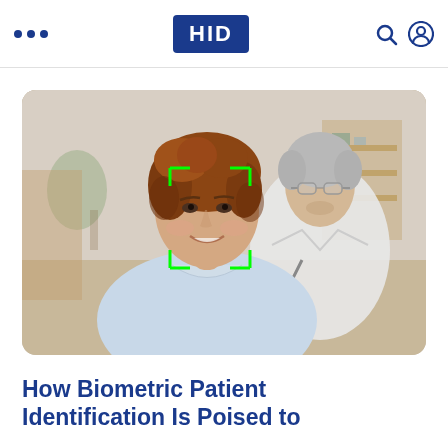HID
[Figure (photo): A smiling young woman in a light blue shirt with a green facial recognition bounding box overlaid on her face. Behind her stands an older male doctor in a white coat with a stethoscope, smiling. The setting appears to be a medical office or clinic.]
How Biometric Patient Identification Is Poised to